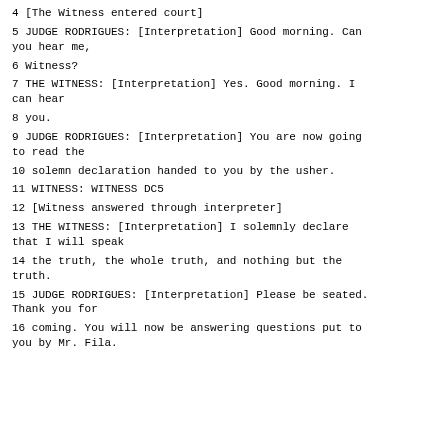4 [The Witness entered court]
5 JUDGE RODRIGUES: [Interpretation] Good morning. Can you hear me,
6 Witness?
7 THE WITNESS: [Interpretation] Yes. Good morning. I can hear
8 you.
9 JUDGE RODRIGUES: [Interpretation] You are now going to read the
10 solemn declaration handed to you by the usher.
11 WITNESS: WITNESS DC5
12 [Witness answered through interpreter]
13 THE WITNESS: [Interpretation] I solemnly declare that I will speak
14 the truth, the whole truth, and nothing but the truth.
15 JUDGE RODRIGUES: [Interpretation] Please be seated. Thank you for
16 coming. You will now be answering questions put to you by Mr. Fila.